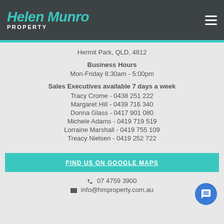Helen Munro PROPERTY
Hermit Park, QLD, 4812
Business Hours
Mon-Friday 8:30am - 5:00pm
Sales Executives available 7 days a week
Tracy Crome - 0438 251 222
Margaret Hill - 0439 716 340
Donna Glass - 0417 901 080
Michele Adams - 0419 719 519
Lorraine Marshall - 0419 755 109
Treacy Nielsen - 0419 252 722
FIND US ON GOOGLE MAPS
07 4759 3900
info@hmproperty.com.au